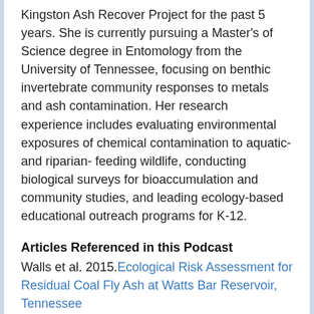Kingston Ash Recover Project for the past 5 years. She is currently pursuing a Master's of Science degree in Entomology from the University of Tennessee, focusing on benthic invertebrate community responses to metals and ash contamination. Her research experience includes evaluating environmental exposures of chemical contamination to aquatic- and riparian- feeding wildlife, conducting biological surveys for bioaccumulation and community studies, and leading ecology-based educational outreach programs for K-12.
Articles Referenced in this Podcast
Walls et al. 2015.Ecological Risk Assessment for Residual Coal Fly Ash at Watts Bar Reservoir, Tennessee